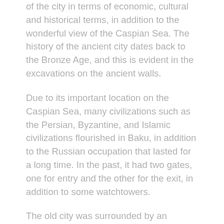of the city in terms of economic, cultural and historical terms, in addition to the wonderful view of the Caspian Sea. The history of the ancient city dates back to the Bronze Age, and this is evident in the excavations on the ancient walls.
Due to its important location on the Caspian Sea, many civilizations such as the Persian, Byzantine, and Islamic civilizations flourished in Baku, in addition to the Russian occupation that lasted for a long time. In the past, it had two gates, one for entry and the other for the exit, in addition to some watchtowers.
The old city was surrounded by an extended wall whose remains are still present until now, it was originally constructed for the purpose of protecting the city from external invasions, and inside the city, there are a large number of shrines such as Saray al-Saada, Haji Qayib Bath, Bab al-Hiba Mosque, the Baku Fire Temple, and the Shirvanshahs' Palace, it is like an open